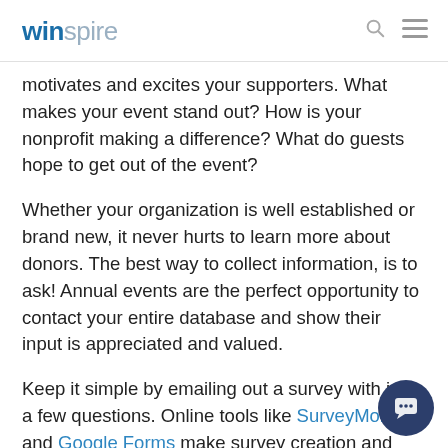winspire
motivates and excites your supporters. What makes your event stand out? How is your nonprofit making a difference? What do guests hope to get out of the event?
Whether your organization is well established or brand new, it never hurts to learn more about donors. The best way to collect information, is to ask! Annual events are the perfect opportunity to contact your entire database and show their input is appreciated and valued.
Keep it simple by emailing out a survey with just a few questions. Online tools like SurveyMonkey and Google Forms make survey creation and tracking a breeze. See sample questions to ask in a pre-event survey.
To boost participation, including a small incentive (like raffling off a Starbucks gift card) never fails to get a wide